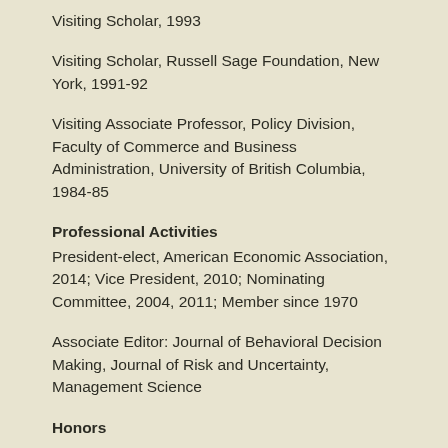Visiting Scholar, 1993
Visiting Scholar, Russell Sage Foundation, New York, 1991-92
Visiting Associate Professor, Policy Division, Faculty of Commerce and Business Administration, University of British Columbia, 1984-85
Professional Activities
President-elect, American Economic Association, 2014; Vice President, 2010; Nominating Committee, 2004, 2011; Member since 1970
Associate Editor: Journal of Behavioral Decision Making, Journal of Risk and Uncertainty, Management Science
Honors